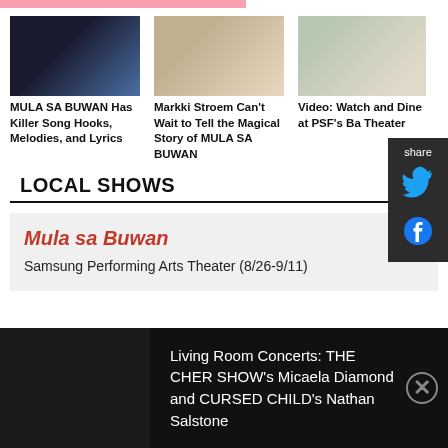MULA SA BUWAN Has Killer Song Hooks, Melodies, and Lyrics
Markki Stroem Can't Wait to Tell the Magical Story of MULA SA BUWAN
Video: Watch and Dine at PSF's Ba Theater
LOCAL SHOWS
Mula sa Buwan
Samsung Performing Arts Theater (8/26-9/11)
Living Room Concerts: THE CHER SHOW's Micaela Diamond and CURSED CHILD's Nathan Salstone